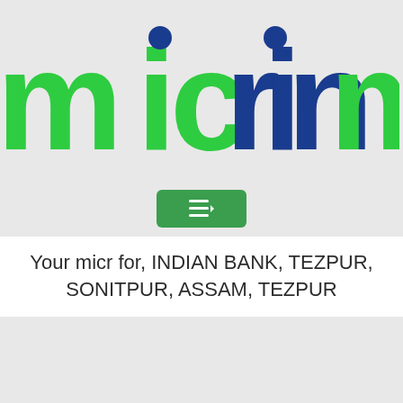[Figure (logo): micrinmap.in logo with green and blue colored letters on a light grey background]
[Figure (other): Green dropdown menu button with hamburger icon and small arrow]
Your micr for, INDIAN BANK, TEZPUR, SONITPUR, ASSAM, TEZPUR